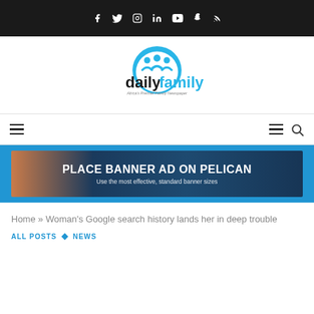Social media icons bar (Facebook, Twitter, Instagram, LinkedIn, YouTube, Snapchat, RSS)
[Figure (logo): Daily Family newspaper logo — blue arc with family silhouette above bold black 'daily' and blue 'family' text, tagline: Africa's Premier Family Newspaper]
Navigation bar with hamburger menu icons and search icon
[Figure (infographic): Blue banner section containing a banner ad image with text: PLACE BANNER AD ON PELICAN / Use the most effective, standard banner sizes]
Home » Woman's Google search history lands her in deep trouble
ALL POSTS ◇ NEWS